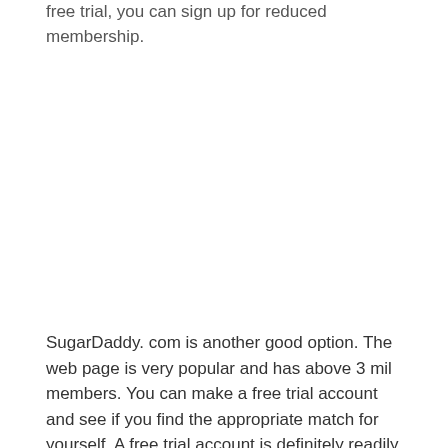free trial, you can sign up for reduced membership.
SugarDaddy. com is another good option. The web page is very popular and has above 3 mil members. You can make a free trial account and see if you find the appropriate match for yourself. A free trial account is definitely readily available so you can find out if you're